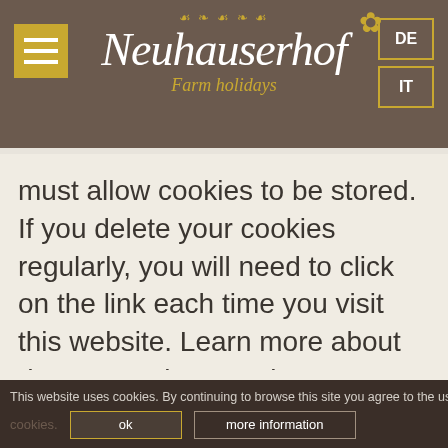[Figure (logo): Neuhauserhof Farm holidays logo with golden decorative elements on brown background, hamburger menu icon, and DE/IT language buttons]
must allow cookies to be stored. If you delete your cookies regularly, you will need to click on the link each time you visit this website. Learn more about data usage by Google Inc: https://support.google.com/analytics/answer?hl=en
Google Maps
This site uses Google Maps (Google Earth...
This website uses cookies. By continuing to browse this site you agree to the use of cookies. ok more information